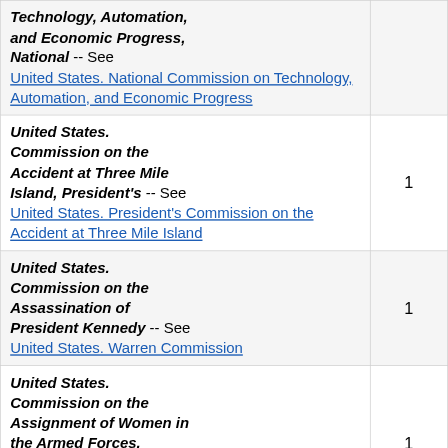| Entry | Count |
| --- | --- |
| Technology, Automation, and Economic Progress, National -- See United States. National Commission on Technology, Automation, and Economic Progress |  |
| United States. Commission on the Accident at Three Mile Island, President's -- See United States. President's Commission on the Accident at Three Mile Island | 1 |
| United States. Commission on the Assassination of President Kennedy -- See United States. Warren Commission | 1 |
| United States. Commission on the Assignment of Women in the Armed Forces, Presidential -- See United States. Presidential Commission on the Assignment of | 1 |